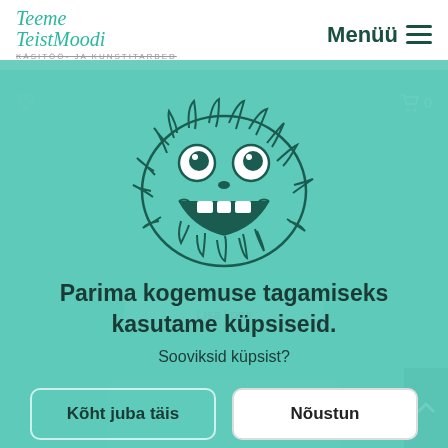[Figure (logo): Teeme TeistMoodi logo in teal cursive script with subtitle KÄSITÖÖ- JA KUNSTITARBED]
Menüü ≡
[Figure (illustration): Cookie monster character illustration - furry monster face with big eyes and open mouth smile]
Lisa korvi
Parima kogemuse tagamiseks kasutame küpsiseid.
Sooviksid küpsist?
Kõht juba täis
Nõustun